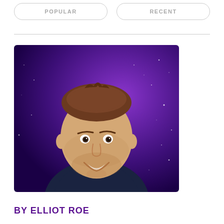POPULAR | RECENT
[Figure (photo): Headshot photo of Elliot Roe, a man with short brown hair wearing a dark shirt, smiling, with a purple starry background]
BY ELLIOT ROE